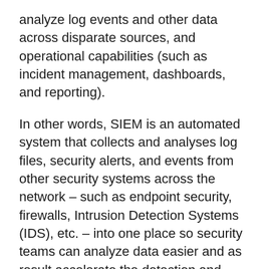analyze log events and other data across disparate sources, and operational capabilities (such as incident management, dashboards, and reporting).
In other words, SIEM is an automated system that collects and analyses log files, security alerts, and events from other security systems across the network – such as endpoint security, firewalls, Intrusion Detection Systems (IDS), etc. – into one place so security teams can analyze data easier and as result accelerate the detection and response to threats. SIEMs offer powerful log search features, the ability to trigger alerts using rules and generate reports that organisations can provide to auditors to demonstrate compliance with various regulations. It also allows SOC teams to use purpose-designed